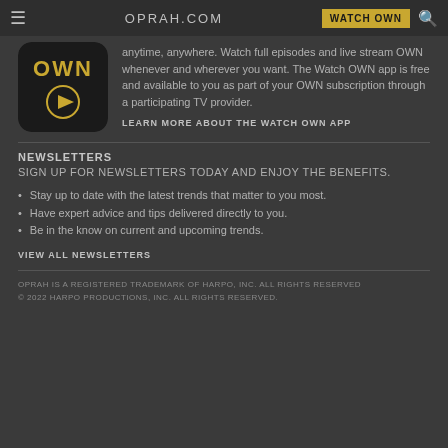OPRAH.COM | WATCH OWN
[Figure (logo): OWN network logo — black rounded square with gold 'OWN' text and gold play button icon]
anytime, anywhere. Watch full episodes and live stream OWN whenever and wherever you want. The Watch OWN app is free and available to you as part of your OWN subscription through a participating TV provider.
LEARN MORE ABOUT THE WATCH OWN APP
NEWSLETTERS
SIGN UP FOR NEWSLETTERS TODAY AND ENJOY THE BENEFITS.
Stay up to date with the latest trends that matter to you most.
Have expert advice and tips delivered directly to you.
Be in the know on current and upcoming trends.
VIEW ALL NEWSLETTERS
OPRAH IS A REGISTERED TRADEMARK OF HARPO, INC. ALL RIGHTS RESERVED © 2022 HARPO PRODUCTIONS, INC. ALL RIGHTS RESERVED.